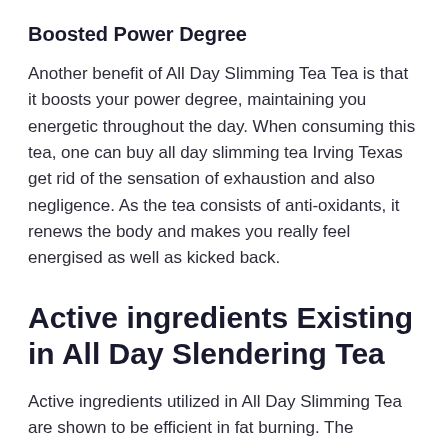Boosted Power Degree
Another benefit of All Day Slimming Tea Tea is that it boosts your power degree, maintaining you energetic throughout the day. When consuming this tea, one can buy all day slimming tea Irving Texas get rid of the sensation of exhaustion and also negligence. As the tea consists of anti-oxidants, it renews the body and makes you really feel energised as well as kicked back.
Active ingredients Existing in All Day Slendering Tea
Active ingredients utilized in All Day Slimming Tea are shown to be efficient in fat burning. The